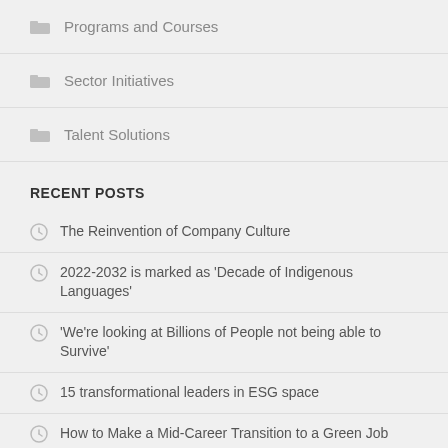Programs and Courses
Sector Initiatives
Talent Solutions
RECENT POSTS
The Reinvention of Company Culture
2022-2032 is marked as 'Decade of Indigenous Languages'
'We're looking at Billions of People not being able to Survive'
15 transformational leaders in ESG space
How to Make a Mid-Career Transition to a Green Job